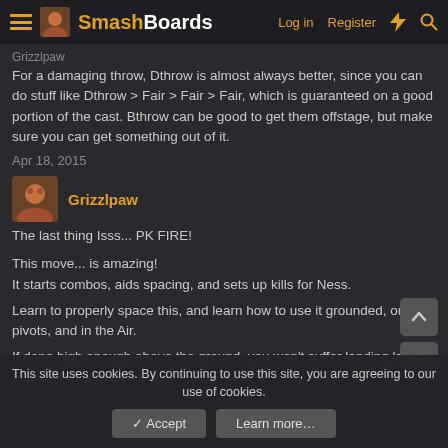SmashBoards — Log in   Register
Grizzlpaw
For a damaging throw, Dthrow is almost always better, since you can do stuff like Dthrow > Fair > Fair > Fair, which is guaranteed on a good portion of the cast. Bthrow can be good to get them offstage, but make sure you can get something out of it.
Apr 18, 2015
Grizzlpaw
The last thing Isss... PK FIRE!

This move... is amazing!
It starts combos, aids spacing, and sets up kills for Ness.

Learn to properly space this, and learn how to use it grounded, out of pivots, and in the Air.

If done high enough above the ground, you won't suffer landing lag, experiment with this as well.
This site uses cookies. By continuing to use this site, you are agreeing to our use of cookies.